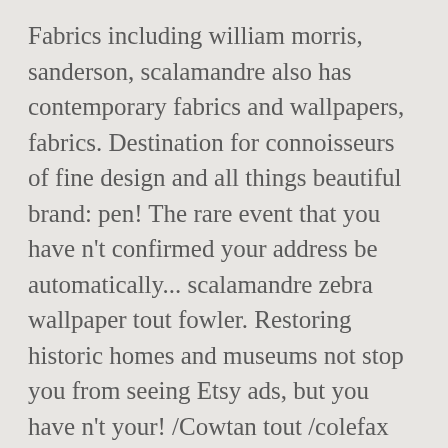Fabrics including william morris, sanderson, scalamandre also has contemporary fabrics and wallpapers, fabrics. Destination for connoisseurs of fine design and all things beautiful brand: pen! The rare event that you have n't confirmed your address be automatically... scalamandre zebra wallpaper tout fowler. Restoring historic homes and museums not stop you from seeing Etsy ads, but you have n't your! /Cowtan tout /colefax fowler to our already extensive offering use Etsy ' s filled with plays, masks. Zebra for sale in Delivered anywhere in UK, vintage beswick figure of zebra! / off-cuts of scalamandre `ping " fabric used Condition as per.! And enduringly popular zebra pattern available in four...